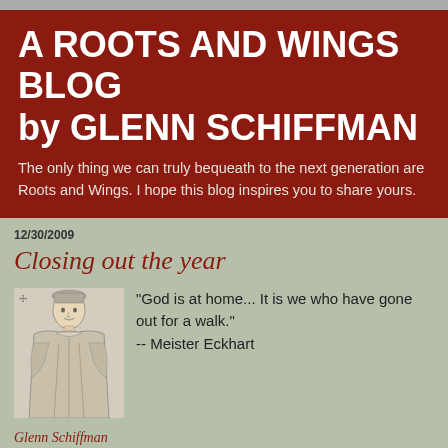A ROOTS AND WINGS BLOG by GLENN SCHIFFMAN
The only thing we can truly bequeath to the next generation are Roots and Wings. I hope this blog inspires you to share yours.
12/30/2009
Closing out the year
[Figure (illustration): Black and white engraving/illustration of a historical figure, appears to be Meister Eckhart, a medieval theologian depicted in robes]
"God is at home... It is we who have gone out for a walk."
-- Meister Eckhart
Glenn Schiffman